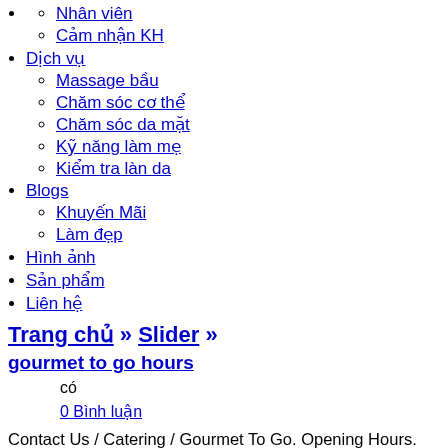Nhân viên
Cảm nhận KH
Dịch vụ
Massage bầu
Chăm sóc cơ thể
Chăm sóc da mặt
Kỹ năng làm mẹ
Kiểm tra làn da
Blogs
Khuyến Mãi
Làm đẹp
Hình ảnh
Sản phẩm
Liên hệ
Trang chủ » Slider »
gourmet to go hours
có
0 Bình luận
Contact Us / Catering / Gourmet To Go. Opening Hours. 395 Sandy Hook Road Picton, Ontario, K0K 2T0 . All prepared food